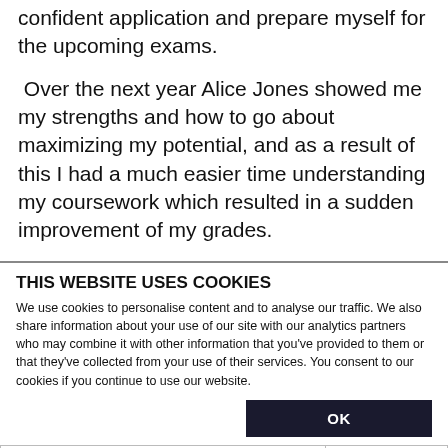confident application and prepare myself for the upcoming exams.
Over the next year Alice Jones showed me my strengths and how to go about maximizing my potential, and as a result of this I had a much easier time understanding my coursework which resulted in a sudden improvement of my grades.
Thanks to Alice Jones, I am part of a minority fortunate enough to go to university in 2011. Alice
THIS WEBSITE USES COOKIES
We use cookies to personalise content and to analyse our traffic. We also share information about your use of our site with our analytics partners who may combine it with other information that you've provided to them or that they've collected from your use of their services. You consent to our cookies if you continue to use our website.
OK
Necessary   Preferences   Statistics   Marketing   Show details